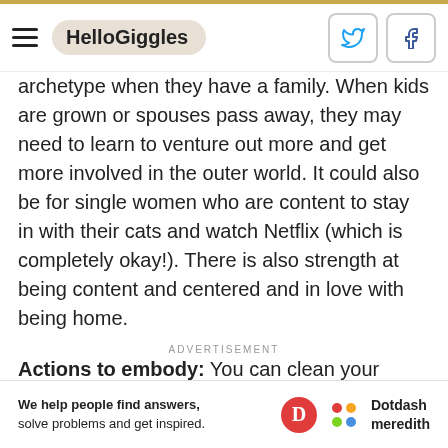HelloGiggles
archetype when they have a family. When kids are grown or spouses pass away, they may need to learn to venture out more and get more involved in the outer world. It could also be for single women who are content to stay in with their cats and watch Netflix (which is completely okay!). There is also strength at being content and centered and in love with being home.
ADVERTISEMENT
Actions to embody: You can clean your house, burn sage to cleanse it, then meditate to be present and light
[Figure (other): Dotdash Meredith advertisement banner: 'We help people find answers, solve problems and get inspired.']